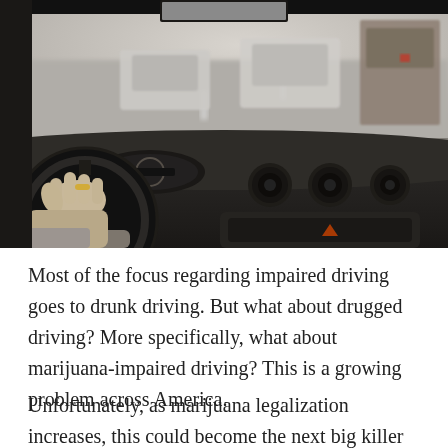[Figure (photo): Interior view of a car from the driver's perspective: a hand gripping a steering wheel, dashboard with air vents and hazard button visible, windshield showing traffic ahead including cars and a truck on a busy road.]
Most of the focus regarding impaired driving goes to drunk driving. But what about drugged driving? More specifically, what about marijuana-impaired driving? This is a growing problem across America.
Unfortunately, as marijuana legalization increases, this could become the next big killer on our roads. What is